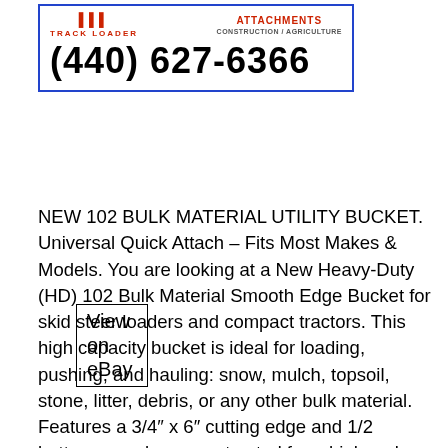[Figure (advertisement): Advertisement box with blue border showing a track loader and attachments brand logo/text and phone number (440) 627-6366]
View on eBay
NEW 102 BULK MATERIAL UTILITY BUCKET. Universal Quick Attach – Fits Most Makes & Models. You are looking at a New Heavy-Duty (HD) 102 Bulk Material Smooth Edge Bucket for skid steer loaders and compact tractors. This high capacity bucket is ideal for loading, pushing, and hauling: snow, mulch, topsoil, stone, litter, debris, or any other bulk material. Features a 3/4″ x 6″ cutting edge and 1/2 bottom wear bars constructed from high carbon AR400 grade steel for longer wear life. The bucket body is constructed with 7 gauge Grade 50 steel, 3/8 thick side walls, and has four(4) vertical supports on inside of bucket for added durability. The universal quick attach plate fits